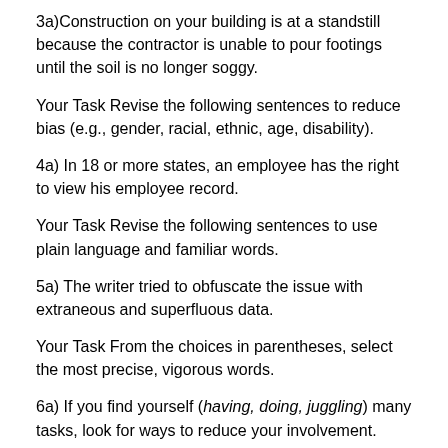3a)Construction on your building is at a standstill because the contractor is unable to pour footings until the soil is no longer soggy.
Your Task Revise the following sentences to reduce bias (e.g., gender, racial, ethnic, age, disability).
4a) In 18 or more states, an employee has the right to view his employee record.
Your Task Revise the following sentences to use plain language and familiar words.
5a) The writer tried to obfuscate the issue with extraneous and superfluous data.
Your Task From the choices in parentheses, select the most precise, vigorous words.
6a) If you find yourself (having, doing, juggling) many tasks, look for ways to reduce your involvement.
Your Task Using Figure 4.5, suggest the best communication